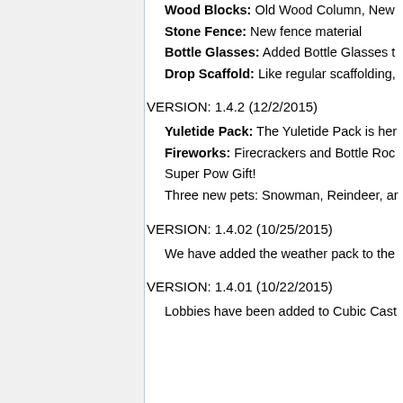Wood Blocks: Old Wood Column, New…
Stone Fence: New fence material
Bottle Glasses: Added Bottle Glasses t…
Drop Scaffold: Like regular scaffolding,…
VERSION: 1.4.2 (12/2/2015)
Yuletide Pack: The Yuletide Pack is her…
Fireworks: Firecrackers and Bottle Roc…
Super Pow Gift!
Three new pets: Snowman, Reindeer, ar…
VERSION: 1.4.02 (10/25/2015)
We have added the weather pack to the…
VERSION: 1.4.01 (10/22/2015)
Lobbies have been added to Cubic Cast…